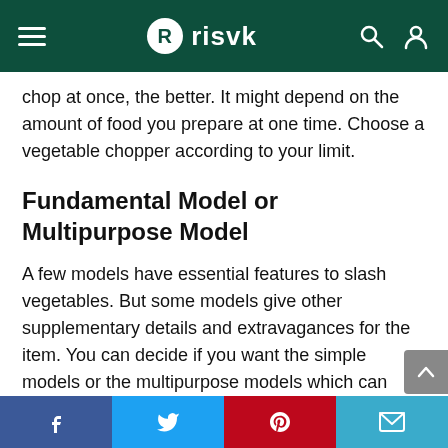risvk
chop at once, the better. It might depend on the amount of food you prepare at one time. Choose a vegetable chopper according to your limit.
Fundamental Model or Multipurpose Model
A few models have essential features to slash vegetables. But some models give other supplementary details and extravagances for the item. You can decide if you want the simple models or the multipurpose models which can blend and beat eggs.